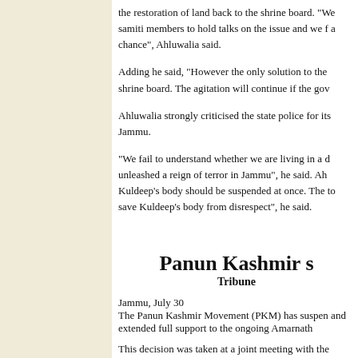the restoration of land back to the shrine board. "We samiti members to hold talks on the issue and we f a chance", Ahluwalia said.
Adding he said, "However the only solution to the shrine board. The agitation will continue if the gov
Ahluwalia strongly criticised the state police for its Jammu.
"We fail to understand whether we are living in a d unleashed a reign of terror in Jammu", he said. Ah Kuldeep's body should be suspended at once. The to save Kuldeep's body from disrespect", he said.
Panun Kashmir s
Tribune
Jammu, July 30
The Panun Kashmir Movement (PKM) has suspen and extended full support to the ongoing Amarnath
This decision was taken at a joint meeting with the
The meeting was organised under the leadership of